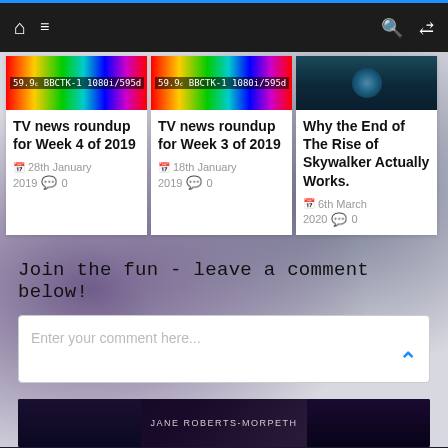Navigation bar with home, menu, search, and shuffle icons
[Figure (screenshot): BBC test card thumbnail for TV news roundup Week 4 of 2019]
TV news roundup for Week 4 of 2019
28th January 2019  💬 0
[Figure (screenshot): BBC test card thumbnail for TV news roundup Week 3 of 2019]
TV news roundup for Week 3 of 2019
18th January 2019  💬 0
[Figure (photo): Dark teal photo related to Rise of Skywalker article]
Why the End of The Rise of Skywalker Actually Works.
6th March 2020  💬 0
Join the fun - leave a comment below!
Enter your comment here...
[Figure (photo): Bottom strip dark space image with text JANE ROBERTS-MORPETH]